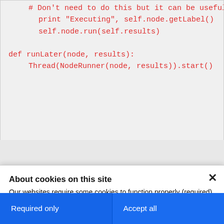# Don't need to do this but it can be useful
    print "Executing", self.node.getLabel()
    self.node.run(self.results)

def runLater(node, results):
    Thread(NodeRunner(node, results)).start()
About cookies on this site
Our websites require some cookies to function properly (required). In addition, other cookies may be used with your consent to analyze site usage, improve the user experience and for advertising.

For more information, please review your Cookie preferences options and IBM's privacy statement.
Required only
Accept all